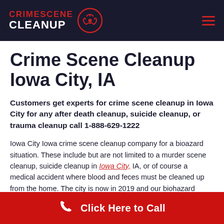CRIMESCENE CLEANUP
Crime Scene Cleanup Iowa City, IA
Customers get experts for crime scene cleanup in Iowa City for any after death cleanup, suicide cleanup, or trauma cleanup call 1-888-629-1222
Iowa City Iowa crime scene cleanup company for a bioazard situation. These include but are not limited to a murder scene cleanup, suicide cleanup in Iowa City, IA, or of course a medical accident where blood and feces must be cleaned up from the home. The city is now in 2019 and our biohazard crime scene cleanup in Iowa City, IA is preparing to make sure we can aid all cleaning of waste that is unsafe and dangerous. Using our brand
Click Here to Call